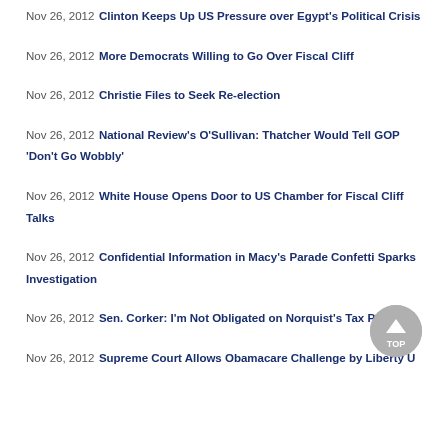Nov 26, 2012 Clinton Keeps Up US Pressure over Egypt's Political Crisis
Nov 26, 2012 More Democrats Willing to Go Over Fiscal Cliff
Nov 26, 2012 Christie Files to Seek Re-election
Nov 26, 2012 National Review's O'Sullivan: Thatcher Would Tell GOP 'Don't Go Wobbly'
Nov 26, 2012 White House Opens Door to US Chamber for Fiscal Cliff Talks
Nov 26, 2012 Confidential Information in Macy's Parade Confetti Sparks Investigation
Nov 26, 2012 Sen. Corker: I'm Not Obligated on Norquist's Tax Pledge
Nov 26, 2012 Supreme Court Allows Obamacare Challenge by Liberty U